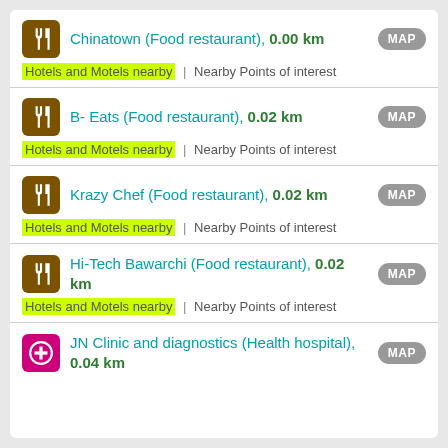Chinatown (Food restaurant), 0.00 km | Hotels and Motels nearby | Nearby Points of interest
B- Eats (Food restaurant), 0.02 km | Hotels and Motels nearby | Nearby Points of interest
Krazy Chef (Food restaurant), 0.02 km | Hotels and Motels nearby | Nearby Points of interest
Hi-Tech Bawarchi (Food restaurant), 0.02 km | Hotels and Motels nearby | Nearby Points of interest
JN Clinic and diagnostics (Health hospital), 0.04 km